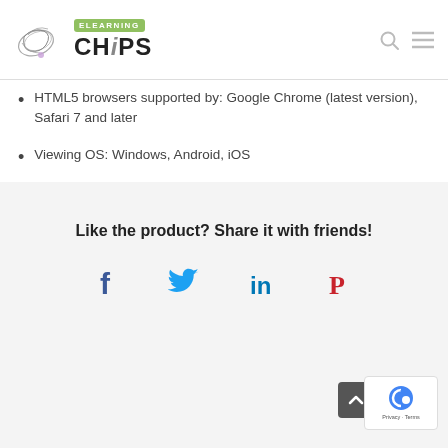[Figure (logo): eLearning Chips logo with chip/crisp graphic and green ELEARNING badge, bold CHIPS text]
HTML5 browsers supported by: Google Chrome (latest version), Safari 7 and later
Viewing OS: Windows, Android, iOS
Like the product? Share it with friends!
[Figure (infographic): Social share icons: Facebook (f), Twitter bird, LinkedIn (in), Pinterest (P)]